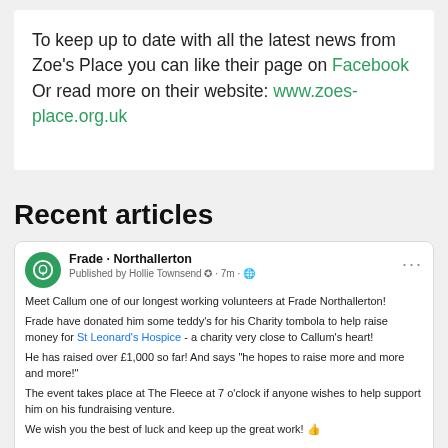To keep up to date with all the latest news from Zoe's Place you can like their page on Facebook Or read more on their website: www.zoes-place.org.uk
Recent articles
[Figure (screenshot): A social media post from Frade Northallerton, published by Hollie Townsend, 7 minutes ago. Text describes Callum, a long-serving volunteer, and a charity tombola for St Leonard's Hospice. He has raised over £1,000 so far. The event is at The Fleece at 7 o'clock. Ends with a thumbs up emoji.]